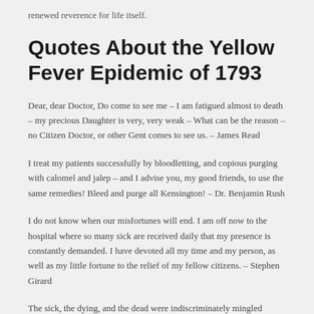renewed reverence for life itself.
Quotes About the Yellow Fever Epidemic of 1793
Dear, dear Doctor, Do come to see me – I am fatigued almost to death – my precious Daughter is very, very weak – What can be the reason – no Citizen Doctor, or other Gent comes to see us. – James Read
I treat my patients successfully by bloodletting, and copious purging with calomel and jalep – and I advise you, my good friends, to use the same remedies! Bleed and purge all Kensington! – Dr. Benjamin Rush
I do not know when our misfortunes will end. I am off now to the hospital where so many sick are received daily that my presence is constantly demanded. I have devoted all my time and my person, as well as my little fortune to the relief of my fellow citizens. – Stephen Girard
The sick, the dying, and the dead were indiscriminately mingled together. The orders and other suggestions of the